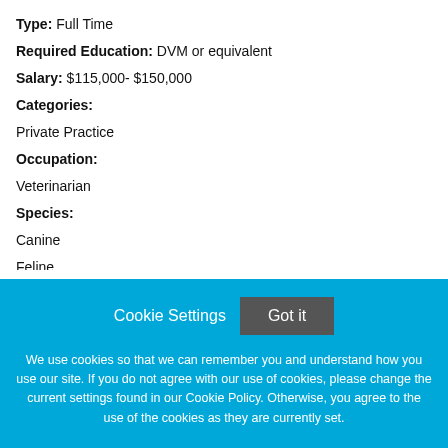Type: Full Time
Required Education: DVM or equivalent
Salary: $115,000- $150,000
Categories:
Private Practice
Occupation:
Veterinarian
Species:
Canine
Feline
Cookie Settings  Got it
We use cookies so that we can remember you and understand how you use our site. If you do not agree with our use of cookies, please change the current settings found in our Cookie Policy. Otherwise, you agree to the use of the cookies as they are currently set.